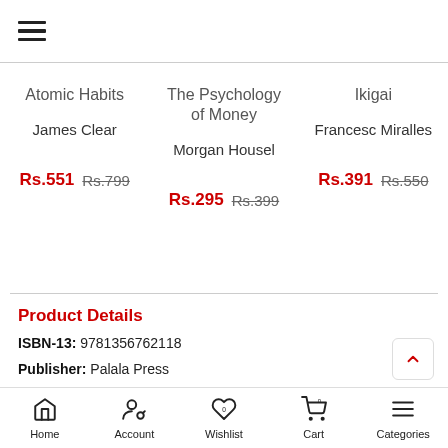[Figure (screenshot): Hamburger menu icon (three horizontal lines)]
| Book | Author | Sale Price | Original Price |
| --- | --- | --- | --- |
| Atomic Habits | James Clear | Rs.551 | Rs.799 |
| The Psychology of Money | Morgan Housel | Rs.295 | Rs.399 |
| Ikigai | Francesc Miralles | Rs.391 | Rs.550 |
Product Details
ISBN-13: 9781356762118
Publisher: Palala Press
Publisher Imprint: Palala Press
Height: 234 mm
No of Pages: 188
Home | Account | Wishlist | Cart | Categories